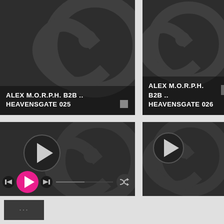[Figure (screenshot): Music player interface showing 4 grid tiles. Top-left: dark card with logo watermark and text 'ALEX M.O.R.P.H. B2B .. HEAVENSGATE 025' with a stop button. Top-right: same logo style with 'ALEX M.O.R.P.H. B2B .. HEAVENSGATE 026'. Bottom-left: player card with large play button, transport controls (prev, play pink, next), progress bar with times 00:00:00 on both sides, shuffle button, and playlist bar (Load, Save playlist, Save as new, Delete pla...). Bottom-right: partial player card. Bottom row shows small thumbnail with ellipsis.]